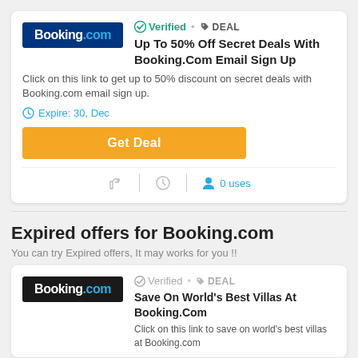[Figure (logo): Booking.com logo, white text on dark blue background]
✓ Verified • 🏷 DEAL
Up To 50% Off Secret Deals With Booking.Com Email Sign Up
Click on this link to get up to 50% discount on secret deals with Booking.com email sign up.
Expire: 30, Dec
Get Deal
0 uses
Expired offers for Booking.com
You can try Expired offers, It may works for you !!
[Figure (logo): Booking.com logo, white text on black background]
Verified • 🏷 DEAL
Save On World's Best Villas At Booking.Com
Click on this link to save on world's best villas at Booking.com